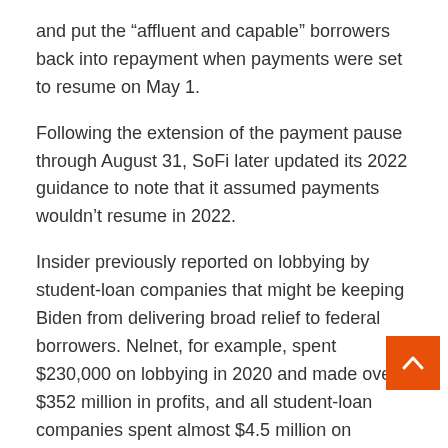and put the “affluent and capable” borrowers back into repayment when payments were set to resume on May 1.
Following the extension of the payment pause through August 31, SoFi later updated its 2022 guidance to note that it assumed payments wouldn’t resume in 2022.
Insider previously reported on lobbying by student-loan companies that might be keeping Biden from delivering broad relief to federal borrowers. Nelnet, for example, spent $230,000 on lobbying in 2020 and made over $352 million in profits, and all student-loan companies spent almost $4.5 million on lobbying efforts last year, OpenSecrets said.
Despite lobbying and pushback from Republican